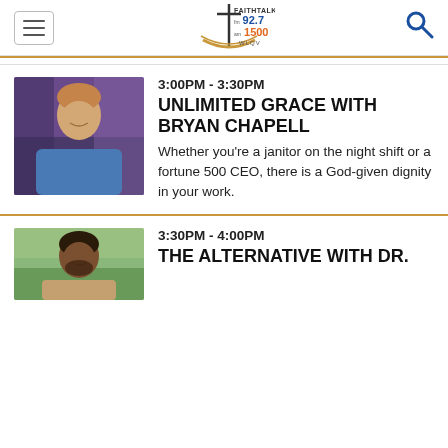FaithTalk fm 92.7 am 1500 WLQV
[Figure (photo): Bryan Chapell headshot - man in blue shirt smiling, with purple/blue studio background]
3:00PM - 3:30PM
UNLIMITED GRACE WITH BRYAN CHAPELL
Whether you're a janitor on the night shift or a fortune 500 CEO, there is a God-given dignity in your work.
[Figure (photo): Man with beard smiling outdoors with green background]
3:30PM - 4:00PM
THE ALTERNATIVE WITH DR.